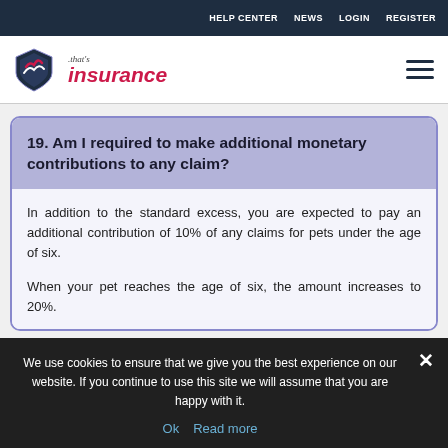HELP CENTER   NEWS   LOGIN   REGISTER
[Figure (logo): That's Insurance logo with shield icon and brand name]
19. Am I required to make additional monetary contributions to any claim?
In addition to the standard excess, you are expected to pay an additional contribution of 10% of any claims for pets under the age of six.
When your pet reaches the age of six, the amount increases to 20%.
We use cookies to ensure that we give you the best experience on our website. If you continue to use this site we will assume that you are happy with it.